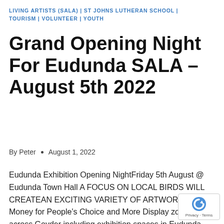LIVING ARTISTS (SALA) | ST JOHNS LUTHERAN SCHOOL | TOURISM | VOLUNTEER | YOUTH
Grand Opening Night For Eudunda SALA – August 5th 2022
By Peter  •  August 1, 2022
Eudunda Exhibition Opening NightFriday 5th August @ Eudunda Town Hall A FOCUS ON LOCAL BIRDS WILL CREATEAN EXCITING VARIETY OF ARTWORKS Price Money for People's Choice and More Display zones across Goyder including exhibition spaces in Eudunda and Terowie. Further info – Margaret on 0458 900 655 or visit Country Fabrics in the Main